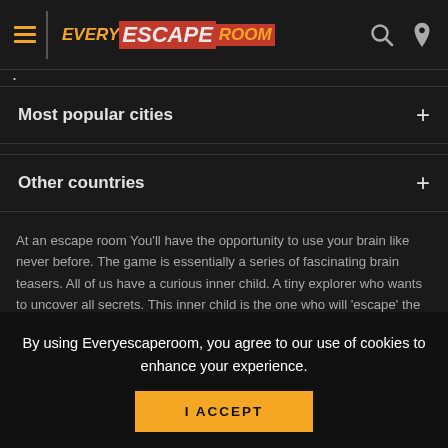Every Escape Room — navigation header with hamburger menu, logo, search and pin icons
Most popular cities +
Other countries +
At an escape room You'll have the opportunity to use your brain like never before. The game is essentially a series of fascinating brain teasers. All of us have a curious inner child. A tiny explorer who wants to uncover all secrets. This inner child is the one who will 'escape' the room while having a great time. Escape games require teamwork. The shared adventure builds trust and strengthens the bond between the players, and as such can…
By using Everyescaperoom, you agree to our use of cookies to enhance your experience.
I ACCEPT